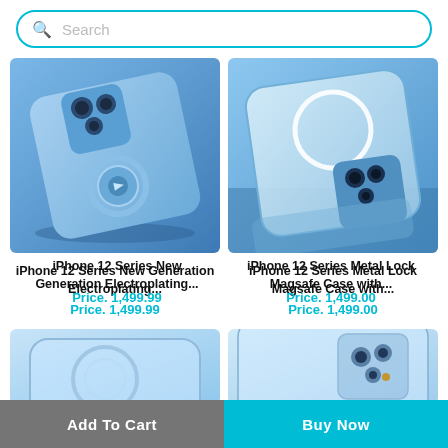Search
[Figure (photo): iPhone 12 Series blue phone case with MagSafe ring and camera cutout, electroplating finish, angled product shot on blue background]
iPhone 12 Series New Generation Electroplating...
Price. 1,499.99
[Figure (photo): iPhone 12 Series transparent metal lock MagSafe case with circular MagSafe ring visible, camera lens area visible, phone on blue surface]
iPhone 12 Series Metal Lock Magsafe Case with...
Price. 1,499.00
[Figure (photo): Partial view of a clear/transparent iPhone case with MagSafe circle, light blue background]
[Figure (photo): Partial view of a clear iPhone case showing camera cutout area on light blue background]
Add To Cart
Buy Now